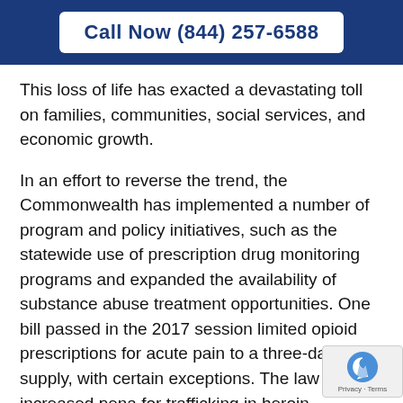Call Now (844) 257-6588
This loss of life has exacted a devastating toll on families, communities, social services, and economic growth.
In an effort to reverse the trend, the Commonwealth has implemented a number of program and policy initiatives, such as the statewide use of prescription drug monitoring programs and expanded the availability of substance abuse treatment opportunities. One bill passed in the 2017 session limited opioid prescriptions for acute pain to a three-day supply, with certain exceptions. The law also increased pena for trafficking in heroin, fentanyl, and fen analogs.